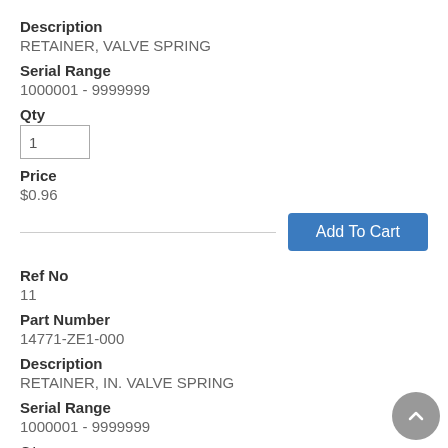Description
RETAINER, VALVE SPRING
Serial Range
1000001 - 9999999
Qty
1
Price
$0.96
Add To Cart
Ref No
11
Part Number
14771-ZE1-000
Description
RETAINER, IN. VALVE SPRING
Serial Range
1000001 - 9999999
Qty